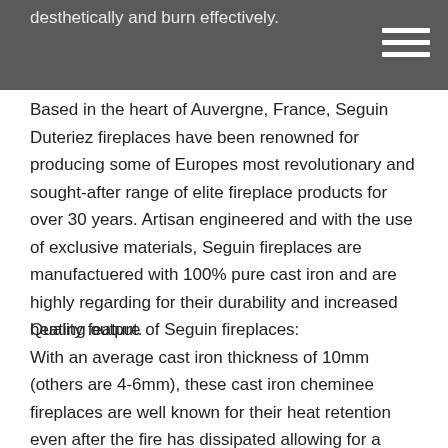desthetically and burn effectively.
Based in the heart of Auvergne, France, Seguin Duteriez fireplaces have been renowned for producing some of Europes most revolutionary and sought-after range of elite fireplace products for over 30 years. Artisan engineered and with the use of exclusive materials, Seguin fireplaces are manufactuered with 100% pure cast iron and are highly regarding for their durability and increased heating output.
Quality feature of Seguin fireplaces:
With an average cast iron thickness of 10mm (others are 4-6mm), these cast iron cheminee fireplaces are well known for their heat retention even after the fire has dissipated allowing for a longer lasting heat well into those colder nights. All Seguin cast iron fireboxes